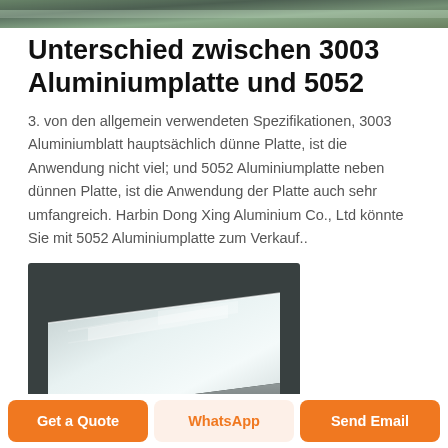[Figure (photo): Partial view of aluminum plate or sheet at top of page]
Unterschied zwischen 3003 Aluminiumplatte und 5052
3. von den allgemein verwendeten Spezifikationen, 3003 Aluminiumblatt hauptsächlich dünne Platte, ist die Anwendung nicht viel; und 5052 Aluminiumplatte neben dünnen Platte, ist die Anwendung der Platte auch sehr umfangreich. Harbin Dong Xing Aluminium Co., Ltd könnte Sie mit 5052 Aluminiumplatte zum Verkauf..
[Figure (photo): Photo of a shiny aluminum sheet/plate with reflective metallic surface]
Get a Quote | WhatsApp | Send Email